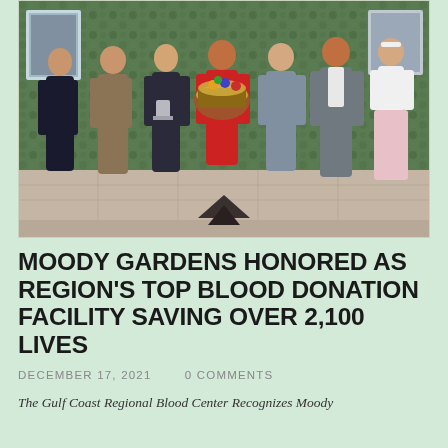[Figure (photo): Group photo of seven people (four women, one man in red shirt holding a gift basket, and two others) standing in front of a green wall with framed artwork. The man in the center holds a large colorful gift basket.]
MOODY GARDENS HONORED AS REGION'S TOP BLOOD DONATION FACILITY SAVING OVER 2,100 LIVES
DECEMBER 17, 2021   0 COMMENTS
The Gulf Coast Regional Blood Center Recognizes Moody